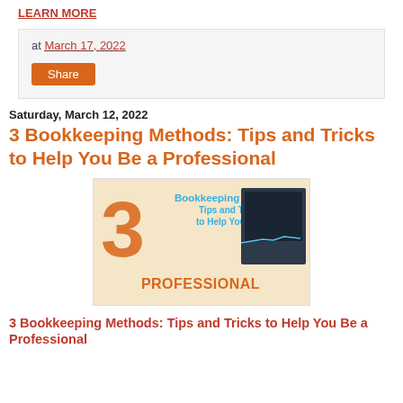LEARN MORE
at March 17, 2022
Share
Saturday, March 12, 2022
3 Bookkeeping Methods: Tips and Tricks to Help You Be a Professional
[Figure (illustration): Thumbnail graphic showing a large orange '3', text reading 'Bookkeeping Methods: Tips and Tricks to Help You Be a' in blue, bold orange text 'PROFESSIONAL', and a computer screen with a chart on the right side]
3 Bookkeeping Methods: Tips and Tricks to Help You Be a Professional